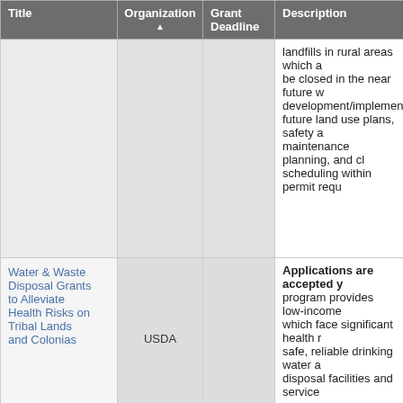| Title | Organization ▲ | Grant Deadline | Description |
| --- | --- | --- | --- |
|  |  |  | landfills in rural areas which are to be closed in the near future with development/implementation of future land use plans, safety and maintenance planning, and closure scheduling within permit requirements. |
| Water & Waste Disposal Grants to Alleviate Health Risks on Tribal Lands and Colonias | USDA |  | Applications are accepted year-round. This program provides low-income communities which face significant health risks with safe, reliable drinking water and waste disposal facilities and services. |
|  |  |  | Deadline passed as of August 2016. Deadline for 2017 unknown. AFRI Challenge Area addresses water resources issues such as drought, soil moisture, flooding, quality and reuse in an agricultural context. Funding to develop management practices, information and tools for farmers, ranchers and managers, public decision... |